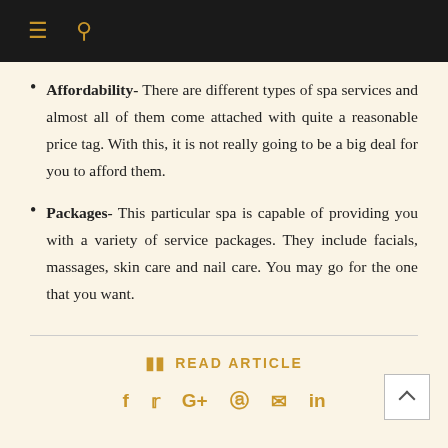Navigation bar with menu and search icons
Affordability- There are different types of spa services and almost all of them come attached with quite a reasonable price tag. With this, it is not really going to be a big deal for you to afford them.
Packages- This particular spa is capable of providing you with a variety of service packages. They include facials, massages, skin care and nail care. You may go for the one that you want.
READ ARTICLE
f  t  G+  p  m  in